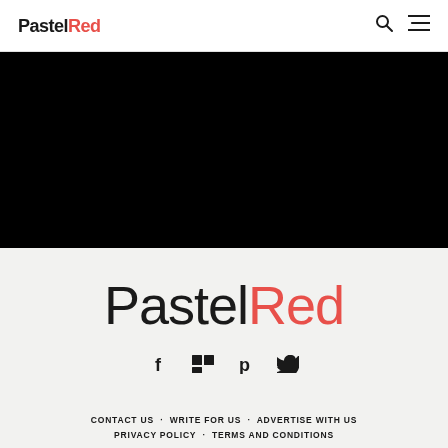PastelRed [logo with search and menu icons]
[Figure (other): Large black rectangular image/video area below the header navigation]
PastelRed
[Figure (other): Social media icons row: Facebook, Flipboard/Mix, Pinterest, Twitter]
CONTACT US  WRITE FOR US  ADVERTISE WITH US  PRIVACY POLICY  TERMS AND CONDITIONS